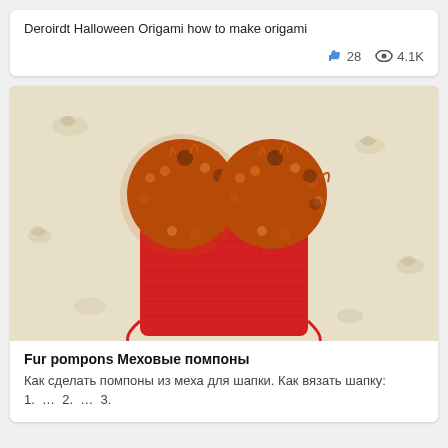Deroirdt Halloween Origami how to make origami
👍 28  👁 4.1K
[Figure (photo): A red knitted hat with two large brown/orange fur pompons on top, laid flat on a floral patterned background.]
Fur pompons Меховые помпоны
Как сделать помпоны из меха для шапки. Как вязать шапку: 1. … 2. … 3.